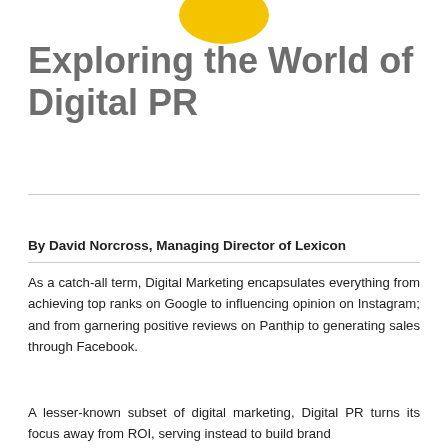[Figure (logo): Partial yellow ellipse/circle logo at top center of page]
Exploring the World of Digital PR
By David Norcross, Managing Director of Lexicon
As a catch-all term, Digital Marketing encapsulates everything from achieving top ranks on Google to influencing opinion on Instagram; and from garnering positive reviews on Panthip to generating sales through Facebook.
A lesser-known subset of digital marketing, Digital PR turns its focus away from ROI, serving instead to build brand